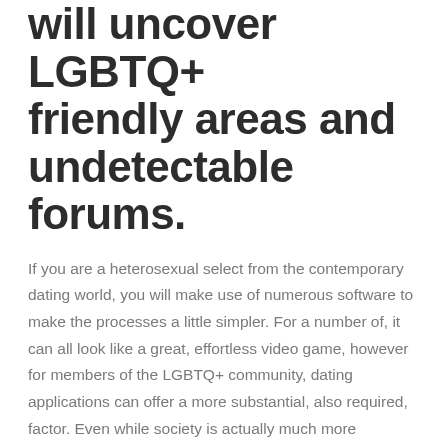will uncover LGBTQ+ friendly areas and undetectable forums.
If you are a heterosexual select from the contemporary dating world, you will make use of numerous software to make the processes a little simpler. For a number of, it can all look like a great, effortless video game, however for members of the LGBTQ+ community, dating applications can offer a more substantial, also required, factor. Even while society is actually much more acknowledging of LGBTQ+ visitors, internet dating applications can offer a feeling of safety and society they could n't have or else — things their particular heterosexual competitors frequently assume.
Therefore and a lot more, it might arrive as not surprising that a fresh study shows almost doubly most LGBTQ+